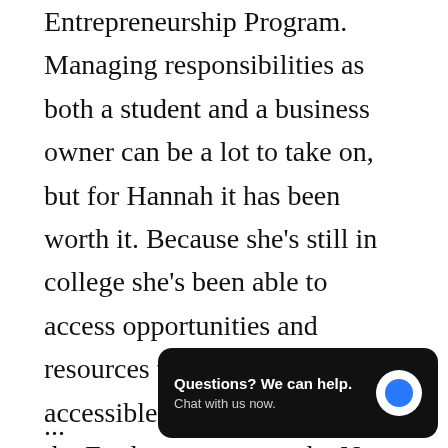Entrepreneurship Program. Managing responsibilities as both a student and a business owner can be a lot to take on, but for Hannah it has been worth it. Because she's still in college she's been able to access opportunities and resources that wouldn't be as accessible off campus — like the Engler program or the New Venture Competition. It might seem scary, but she encourages students to pursue their entrepreneurial passions. "There's not a better time to s... than when you're a s...
...
[Figure (other): Chat widget overlay with text 'Questions? We can help. Chat with us now.' and a blue circle icon on dark background.]